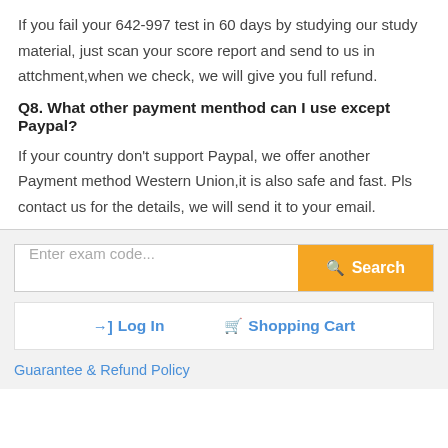If you fail your 642-997 test in 60 days by studying our study material, just scan your score report and send to us in attchment,when we check, we will give you full refund.
Q8. What other payment menthod can I use except Paypal?
If your country don't support Paypal, we offer another Payment method Western Union,it is also safe and fast. Pls contact us for the details, we will send it to your email.
Enter exam code...
Search
Log In
Shopping Cart
Guarantee & Refund Policy